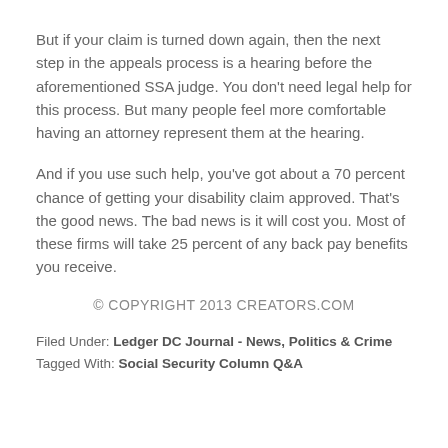But if your claim is turned down again, then the next step in the appeals process is a hearing before the aforementioned SSA judge. You don't need legal help for this process. But many people feel more comfortable having an attorney represent them at the hearing.
And if you use such help, you've got about a 70 percent chance of getting your disability claim approved. That's the good news. The bad news is it will cost you. Most of these firms will take 25 percent of any back pay benefits you receive.
© COPYRIGHT 2013 CREATORS.COM
Filed Under: Ledger DC Journal - News, Politics & Crime
Tagged With: Social Security Column Q&A